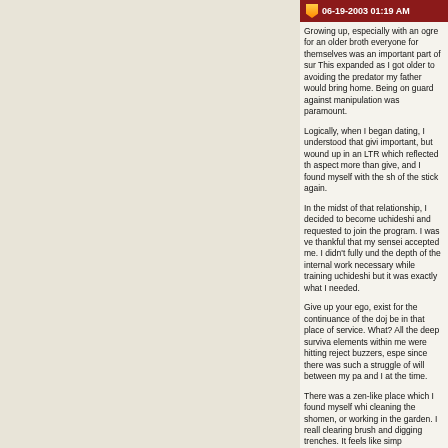06-19-2003 01:19 AM
Growing up, especially with an ogre for an older broth everyone for themselves was an important part of sur This expanded as I got older to avoiding the predator my father would bring home. Being on guard against manipulation was paramount.

Logically, when I began dating, I understood that givi important, but wound up in an LTR which reflected th aspect more than give, and I found myself with the sh of the stick again.

In the midst of that relationship, I decided to become uchideshi and requested to join the program. I was ve thankful that my sensei accepted me. I didn't fully und the depth of the internal work necessary while training uchideshi but it was exactly what I needed.

Give up your ego, exist for the continuance of the doj be in that place of service. What? All the deep surviva elements within me were hitting reject buzzers, espe since there was such a struggle of will between my pa and I at the time.

There was a zen-like place which I found myself whi cleaning the shomen, or working in the garden. I reall clearing brush and digging trenches. It feels like simp meditative, noble work. Using an axe like doing tanre allowed me to readress my wants in life, my path, my